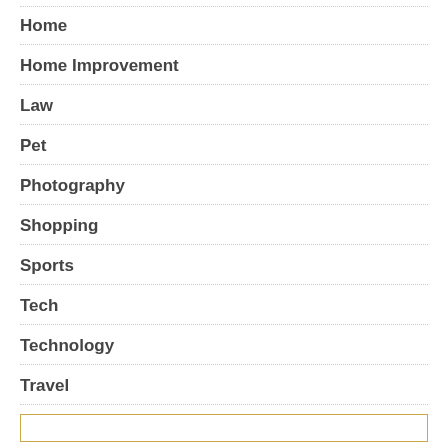Home
Home Improvement
Law
Pet
Photography
Shopping
Sports
Tech
Technology
Travel